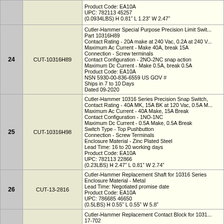| # | Part Number | Description |
| --- | --- | --- |
|  |  | Product Code: EA10A
UPC: 782113 45257
(0.0934LBS) H 0.81" L 1.23" W 2.47" |
| 24 | CUT-10316H89 | Cutler-Hammer Special Purpose Precision Limit Switch, Part 10316H89
Contact Rating - 20A make at 240 Vac, 0.2A at 240 Vac
Maximum Ac Current - Make 40A, break 15A
Connection - Screw terminals
Contact Configuration - 2NO-2NC snap action
Maximum Dc Current - Make 0.5A, break 0.5A
Product Code: EA10A
NSN 5930-00-836-6559 US GOV #
Ships in 7 to 10 Days
Dated 09-2020 |
| 25 | CUT-10316H98 | Cutler-Hammer 10316 Series Precision Snap Switch,
Contact Rating - 40A MK, 15A BK at 120 Vac, 0.5A Make
Maximum Ac Current - 40A Make, 15A Break
Contact Configuration - 1NO-1NC
Maximum Dc Current - 0.5A Make, 0.5A Break
Switch Type - Top Pushbutton
Connection - Screw Terminals
Enclosure Material - Zinc Plated Steel
Lead Time: 16 to 20 working days
Product Code: EA10A
UPC: 782113 22866
(0.23LBS) H 2.47" L 0.81" W 2.74" |
| 26 | CUT-13-2816 | Cutler-Hammer Replacement Shaft for 10316 Series
Enclosure Material - Metal
Lead Time: Negotiated promise date
Product Code: EA10A
UPC: 786685 46650
(0.5LBS) H 0.55" L 0.55" W 5.8" |
| 27 | CUT-17-702 | Cutler-Hammer Replacement Contact Block for 1031 17-702
Switch Type - Contact Block
Enclosure Material - Metal
Lead Time: 11 to 15 working days |